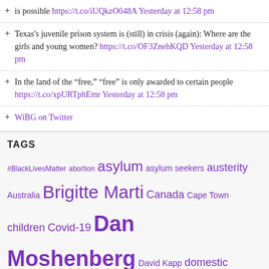is possible https://t.co/iUQkzO048A Yesterday at 12:58 pm
Texas's juvenile prison system is (still) in crisis (again): Where are the girls and young women? https://t.co/OF3ZnebKQD Yesterday at 12:58 pm
In the land of the “free,” “free” is only awarded to certain people https://t.co/xpURTphEmr Yesterday at 12:58 pm
WiBG on Twitter
TAGS
#BlackLivesMatter abortion asylum asylum seekers austerity Australia Brigitte Marti Canada Cape Town children Covid-19 Dan Moshenberg David Kapp domestic workers France Greece Haunts immigrant detention India Mexico New Jersey Nichole Smith Nigeria Pennsylvania Pramila Venkateswaran prison rape refugees Resistances sexual violence shackling solitary confinement South Africa Texas The very unfortunate torture Uganda United Kingdom United